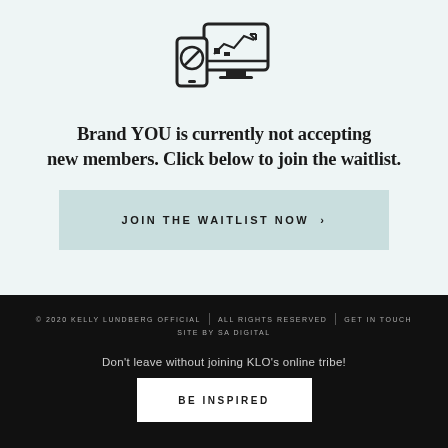[Figure (illustration): Icon of a desktop monitor with a chart/graph and a mobile phone, in outline/line-art style on a light teal background]
Brand YOU is currently not accepting new members. Click below to join the waitlist.
JOIN THE WAITLIST NOW ›
© 2020 KELLY LUNDBERG OFFICIAL | ALL RIGHTS RESERVED | GET IN TOUCH
SITE BY SA DIGITAL
Don't leave without joining KLO's online tribe!
BE INSPIRED